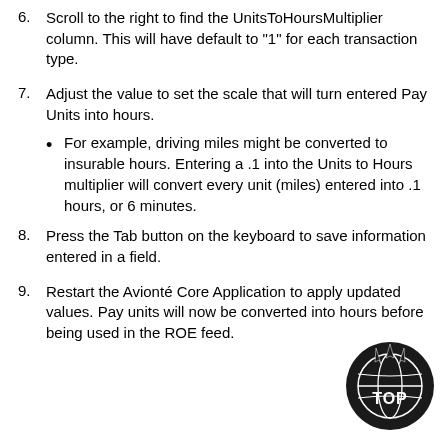6. Scroll to the right to find the UnitsToHoursMultiplier column. This will have default to "1" for each transaction type.
7. Adjust the value to set the scale that will turn entered Pay Units into hours.
For example, driving miles might be converted to insurable hours. Entering a .1 into the Units to Hours multiplier will convert every unit (miles) entered into .1 hours, or 6 minutes.
8. Press the Tab button on the keyboard to save information entered in a field.
9. Restart the Avionté Core Application to apply updated values. Pay units will now be converted into hours before being used in the ROE feed.
[Figure (logo): Avionté TOP logo - black circular globe with spiky top and 'TOP' text in white]